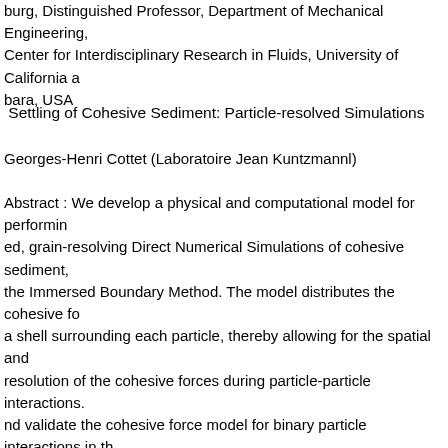burg, Distinguished Professor, Department of Mechanical Engineering, Center for Interdisciplinary Research in Fluids, University of California at bara, USA
Settling of Cohesive Sediment: Particle-resolved Simulations
Georges-Henri Cottet (Laboratoire Jean Kuntzmannl)
Abstract : We develop a physical and computational model for performing ed, grain-resolving Direct Numerical Simulations of cohesive sediment, the Immersed Boundary Method. The model distributes the cohesive fo a shell surrounding each particle, thereby allowing for the spatial and resolution of the cohesive forces during particle-particle interactions. nd validate the cohesive force model for binary particle interactions in th issing-Tumbling (DKT) configuration. Cohesive sediment grains can rem o each other during the tumbling phase following the initial collision, the to the formation of flocs. The DKT simulations demonstrate that cohes irs settle in a preferred orientation, with particles of very different sizes ally aligning themselves in the vertical direction, so that the smaller part n the wake of the larger one. This preferred orientation of cohesive par und to remain influential for much larger simulations of 1,261 polydispe released from rest. These simulations reproduce several earlier experim ns by other authors, such as the accelerated settling of sand and silt ue to particle bonding, the stratification of cohesive sediment deposits, idation process of the deposit. This final phase also shows the build-up